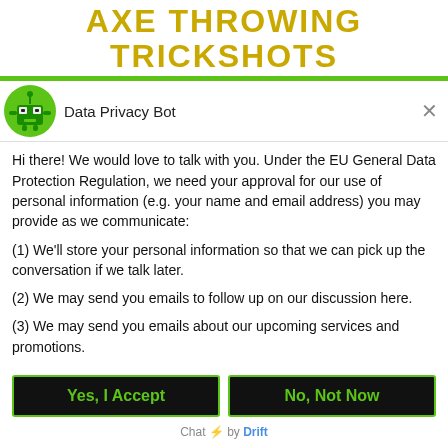AXE THROWING TRICKSHOTS
[Figure (illustration): Green robot/bot icon with antenna, square eyes, inside a green circle]
Data Privacy Bot
Hi there! We would love to talk with you. Under the EU General Data Protection Regulation, we need your approval for our use of personal information (e.g. your name and email address) you may provide as we communicate:
(1) We'll store your personal information so that we can pick up the conversation if we talk later.
(2) We may send you emails to follow up on our discussion here.
(3) We may send you emails about our upcoming services and promotions.
Yes, I Accept
No, Not Now
Chat ⚡ by Drift